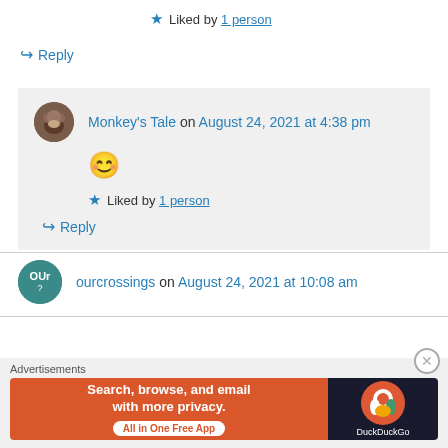★ Liked by 1 person
↪ Reply
Monkey's Tale on August 24, 2021 at 4:38 pm
😊
★ Liked by 1 person
↪ Reply
ourcrossings on August 24, 2021 at 10:08 am
Advertisements
Search, browse, and email with more privacy. All in One Free App